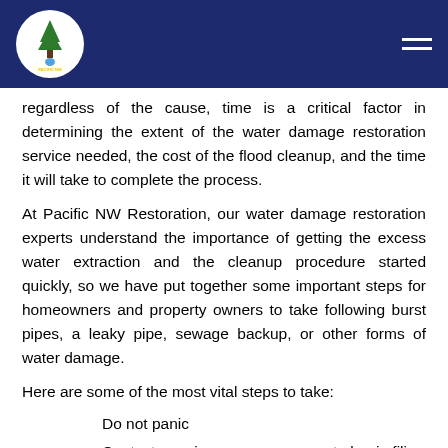Pacific NW Restoration logo and navigation header
regardless of the cause, time is a critical factor in determining the extent of the water damage restoration service needed, the cost of the flood cleanup, and the time it will take to complete the process.
At Pacific NW Restoration, our water damage restoration experts understand the importance of getting the excess water extraction and the cleanup procedure started quickly, so we have put together some important steps for homeowners and property owners to take following burst pipes, a leaky pipe, sewage backup, or other forms of water damage.
Here are some of the most vital steps to take:
Do not panic
Contact your insurance company to begin filing